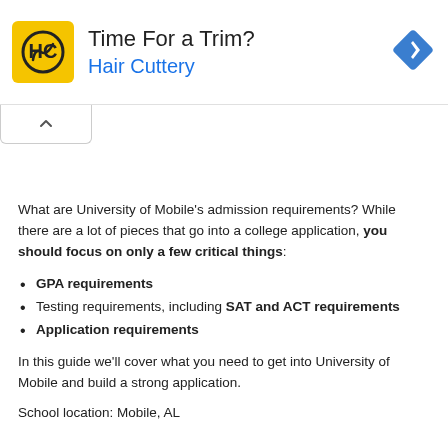[Figure (other): Hair Cuttery advertisement banner with yellow HC logo, headline 'Time For a Trim?', brand name 'Hair Cuttery' in blue, and a blue diamond navigation icon on the right]
What are University of Mobile's admission requirements? While there are a lot of pieces that go into a college application, you should focus on only a few critical things:
GPA requirements
Testing requirements, including SAT and ACT requirements
Application requirements
In this guide we'll cover what you need to get into University of Mobile and build a strong application.
School location: Mobile, AL